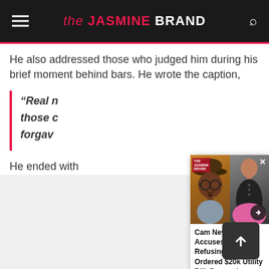the JASMINE BRAND
He also addressed those who judged him during his brief moment behind bars. He wrote the caption,
“Real n… those c… forgav…”
He ended with…
[Figure (screenshot): Popup widget showing two images side by side: a man wearing glasses and a hat on the left, a woman in black on the right. Below the images is a headline: Cam Newton’s Ex Accuses Him Of Refusing To Pay Ordered $20k Utility Bill, Demands NFL…]
Cam Newton’s Ex Accuses Him Of Refusing To Pay Ordered $20k Utility Bill, Demands NFL…